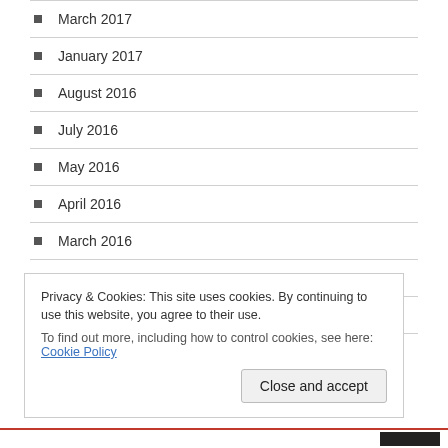March 2017
January 2017
August 2016
July 2016
May 2016
April 2016
March 2016
January 2016
December 2015
November 2015
Privacy & Cookies: This site uses cookies. By continuing to use this website, you agree to their use.
To find out more, including how to control cookies, see here: Cookie Policy
Close and accept